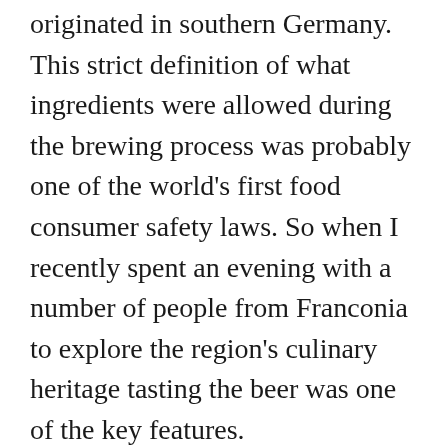originated in southern Germany. This strict definition of what ingredients were allowed during the brewing process was probably one of the world's first food consumer safety laws. So when I recently spent an evening with a number of people from Franconia to explore the region's culinary heritage tasting the beer was one of the key features.
The evening started with a welcome glass of sparkling, the Juventa Secco, it was fresh and fruity with a good, clean finish and made an excellent aperitif. All the wines served during the evening were from Franconia and primarily were